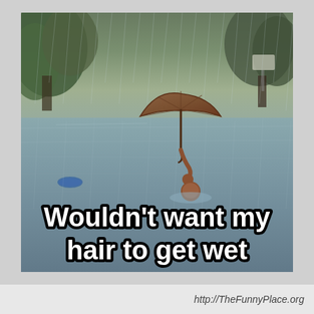[Figure (photo): A humorous meme image showing a person submerged up to their neck in deep floodwater, holding an umbrella above their head with one arm raised. The floodwater fills the entire scene with trees visible in the background. Bold white text with black outline overlaid at the bottom reads: 'Wouldn't want my hair to get wet']
http://TheFunnyPlace.org